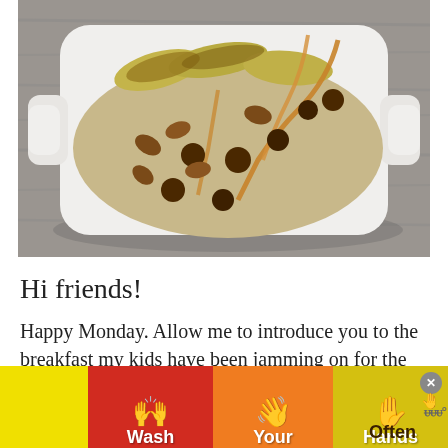[Figure (photo): Overhead photo of a white rectangular ceramic baking dish filled with baked oatmeal topped with sliced bananas, chocolate chips, pecans, and drizzled peanut butter sauce, on a grey wood surface.]
Hi friends!
Happy Monday. Allow me to introduce you to the breakfast my kids have been jamming on for the past... not.
[Figure (infographic): Advertisement banner: 'Wash Your Hands Often' with hand-washing emoji icons on colored background sections (yellow, red, orange, yellow). Includes a close (X) button.]